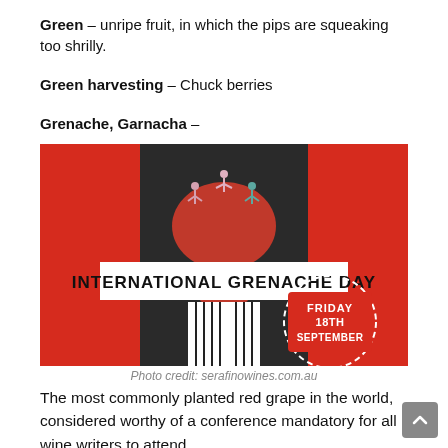Green – unripe fruit, in which the pips are squeaking too shrilly.
Green harvesting – Chuck berries
Grenache, Garnacha –
[Figure (illustration): International Grenache Day promotional image with a stylized figure whose head is a red wine glass, wearing a striped suit, on a red and black background. A white banner reads 'INTERNATIONAL GRENACHE DAY'. A dashed circle badge says 'FRIDAY 18TH SEPTEMBER'.]
Photo credit: serafinowines.com.au
The most commonly planted red grape in the world, considered worthy of a conference mandatory for all wine writers to attend